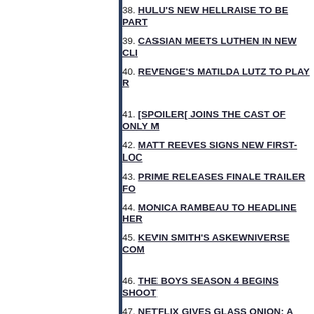38. HULU'S NEW HELLRAISE TO BE PART...
39. CASSIAN MEETS LUTHEN IN NEW CLI...
40. REVENGE'S MATILDA LUTZ TO PLAY R...
41. [SPOILER[ JOINS THE CAST OF ONLY M...
42. MATT REEVES SIGNS NEW FIRST-LOC...
43. PRIME RELEASES FINALE TRAILER FO...
44. MONICA RAMBEAU TO HEADLINE HER...
45. KEVIN SMITH'S ASKEWNIVERSE COM...
46. THE BOYS SEASON 4 BEGINS SHOOT...
47. NETFLIX GIVES GLASS ONION: A KNIV...
48. HOUSE OF THE DRAGON HAS BIG DE...
49. THOR: LOVE AND THUNDER AMONG P...
50. DF INTERVIEW: KATE SHERIDAN UNLE... NOVEL 'IN THE SHADOW OF THE THRONE...